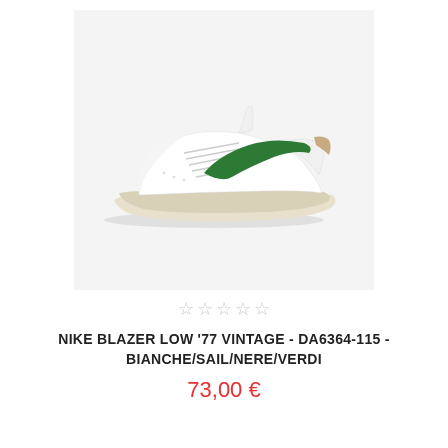[Figure (photo): Nike Blazer Low '77 Vintage sneaker in white leather with green swoosh and cream/sail sole, shown in side profile view against a light gray background.]
☆ ☆ ☆ ☆ ☆
NIKE BLAZER LOW '77 VINTAGE - DA6364-115 - BIANCHE/SAIL/NERE/VERDI
73,00 €